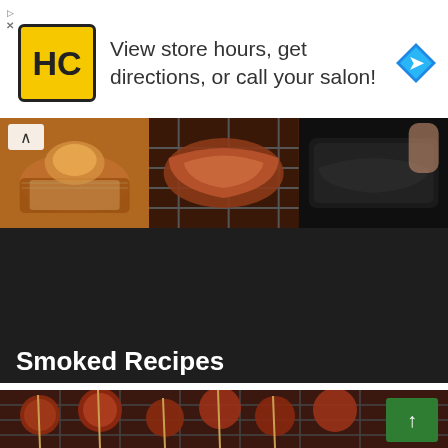[Figure (screenshot): Advertisement banner for HC salon with yellow logo, text and blue direction icon]
View store hours, get directions, or call your salon!
[Figure (photo): Strip of three food photos: fried/baked food in foil cups, smoked meat on grill rack, and charred black meat]
Smoked Recipes
[Figure (photo): Smoked glazed meatballs on skewers resting on a wire rack, with a green scroll-to-top button overlay]